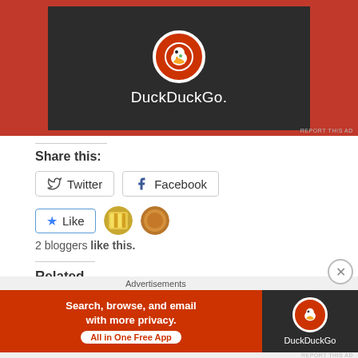[Figure (screenshot): DuckDuckGo advertisement banner with orange background and dark center panel showing DuckDuckGo logo and name]
REPORT THIS AD
Share this:
Twitter  Facebook (share buttons)
Like  2 bloggers like this.
Related
Updates [Renunciation of Malaysian Citizenship]
Thank you everyone who
Registration of Singapore Citizenship at ICA
Advertisements
[Figure (screenshot): DuckDuckGo advertisement banner: Search, browse, and email with more privacy. All in One Free App]